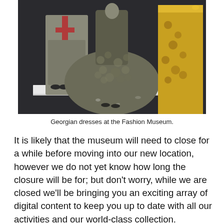[Figure (photo): A museum display of Georgian dresses on mannequins in a dimly lit exhibition space. Center features a large voluminous floral/textured gown, right features a yellow floral gown, left background shows a lighter dress with red accents and small dark shoes on a white display plinth.]
Georgian dresses at the Fashion Museum.
It is likely that the museum will need to close for a while before moving into our new location, however we do not yet know how long the closure will be for; but don't worry, while we are closed we'll be bringing you an exciting array of digital content to keep you up to date with all our activities and our world-class collection.